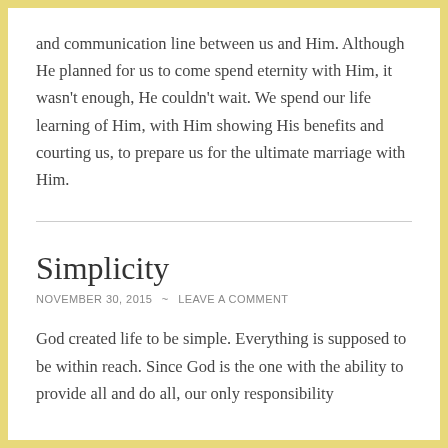and communication line between us and Him. Although He planned for us to come spend eternity with Him, it wasn't enough, He couldn't wait. We spend our life learning of Him, with Him showing His benefits and courting us, to prepare us for the ultimate marriage with Him.
Simplicity
NOVEMBER 30, 2015 ~ LEAVE A COMMENT
God created life to be simple. Everything is supposed to be within reach. Since God is the one with the ability to provide all and do all, our only responsibility is to look to Him, and He will ultimately do it...